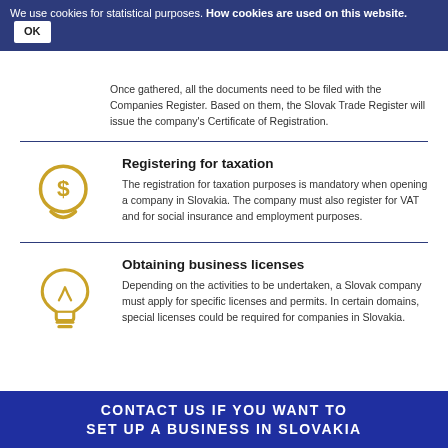We use cookies for statistical purposes. How cookies are used on this website. OK
Once gathered, all the documents need to be filed with the Companies Register. Based on them, the Slovak Trade Register will issue the company's Certificate of Registration.
Registering for taxation
The registration for taxation purposes is mandatory when opening a company in Slovakia. The company must also register for VAT and for social insurance and employment purposes.
Obtaining business licenses
Depending on the activities to be undertaken, a Slovak company must apply for specific licenses and permits. In certain domains, special licenses could be required for companies in Slovakia.
CONTACT US IF YOU WANT TO SET UP A BUSINESS IN SLOVAKIA